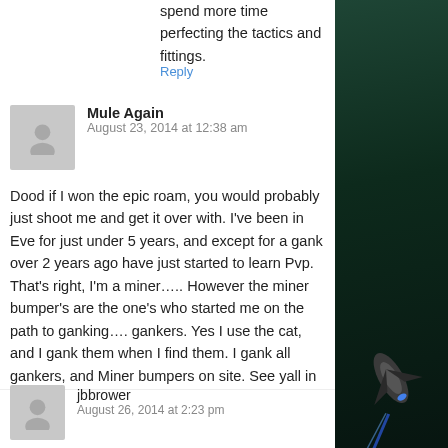spend more time perfecting the tactics and fittings.
Reply
Mule Again
August 23, 2014 at 12:38 am
Dood if I won the epic roam, you would probably just shoot me and get it over with. I've been in Eve for just under 5 years, and except for a gank over 2 years ago have just started to learn Pvp. That's right, I'm a miner….. However the miner bumper's are the one's who started me on the path to ganking…. gankers. Yes I use the cat, and I gank them when I find them. I gank all gankers, and Miner bumpers on site. See yall in the funny papers. I go by the Mule Code. Look for us soon, miners are gonna start shooting back
Reply
jbbrower
August 26, 2014 at 2:23 pm